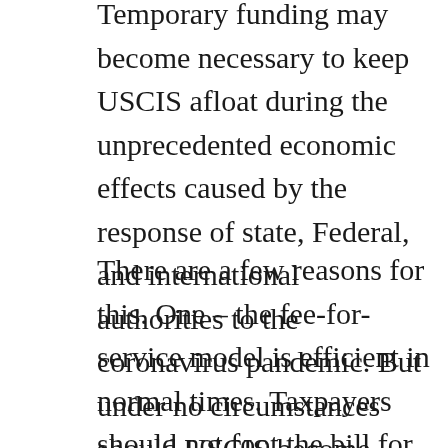Temporary funding may become necessary to keep USCIS afloat during the unprecedented economic effects caused by the response of state, Federal, and international authorities to the coronavirus pandemic. But under no circumstances should USCIS become entirely funded by the appropriations process.
There are a few reasons for this. One – the fee-for-service model is efficient in normal times. Taxpayers should not foot the bill for for the services required to handle immigration applications. Making the prospective immigrants, their sponsors, and their employers pay for these services is common sense. It further reinforces the idea that the proper role of USCIS is not merely to churn out visas to the United States, whether nonimmigrant or immigrant. Rather, the responsibility of the agency is to conduct a